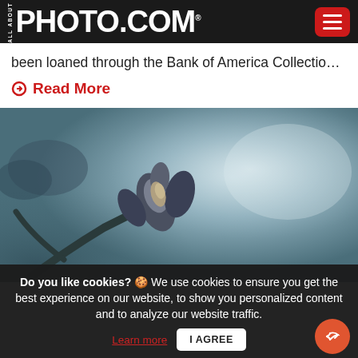ALL ABOUT PHOTO.COM
been loaned through the Bank of America Collection A…
Read More
[Figure (photo): Close-up macro photograph of a flower bud or plant on a branch against a soft blue-grey misty background]
Do you like cookies? 🍪 We use cookies to ensure you get the best experience on our website, to show you personalized content and to analyze our website traffic. Learn more  I AGREE